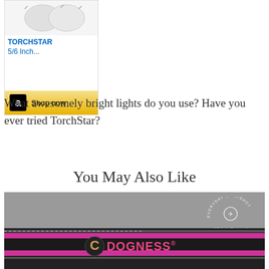[Figure (other): Amazon advertisement box showing TORCHSTAR 5/6 Inch product with 'Shop now' button and Amazon logo]
What awesomely bright lights do you use? Have you ever tried TorchStar?
You May Also Like
[Figure (photo): Photo of a dark dog leash/collar with DOGNESS brand logo in pink text, with 'Everyday Snapshot Michele Bertrand' watermark in top right corner]